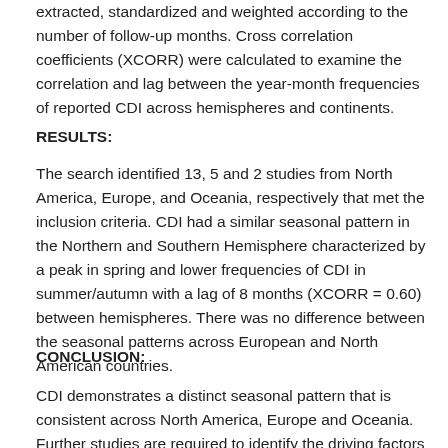extracted, standardized and weighted according to the number of follow-up months. Cross correlation coefficients (XCORR) were calculated to examine the correlation and lag between the year-month frequencies of reported CDI across hemispheres and continents.
RESULTS:
The search identified 13, 5 and 2 studies from North America, Europe, and Oceania, respectively that met the inclusion criteria. CDI had a similar seasonal pattern in the Northern and Southern Hemisphere characterized by a peak in spring and lower frequencies of CDI in summer/autumn with a lag of 8 months (XCORR = 0.60) between hemispheres. There was no difference between the seasonal patterns across European and North American countries.
CONCLUSION:
CDI demonstrates a distinct seasonal pattern that is consistent across North America, Europe and Oceania. Further studies are required to identify the driving factors of the observed seasonality...